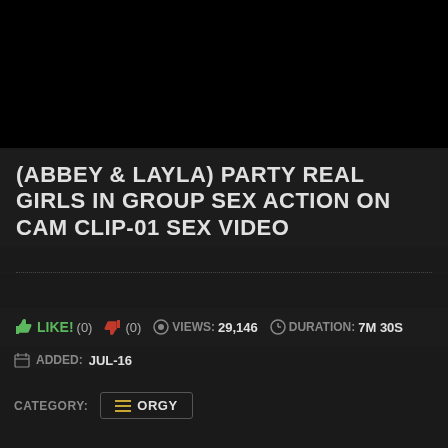[Figure (screenshot): Dark video player area with black background]
(ABBEY & LAYLA) PARTY REAL GIRLS IN GROUP SEX ACTION ON CAM CLIP-01 SEX VIDEO
LIKE! (0)  (0)  VIEWS: 29,146  DURATION: 7M 30S
ADDED: JUL-16
CATEGORY: ORGY